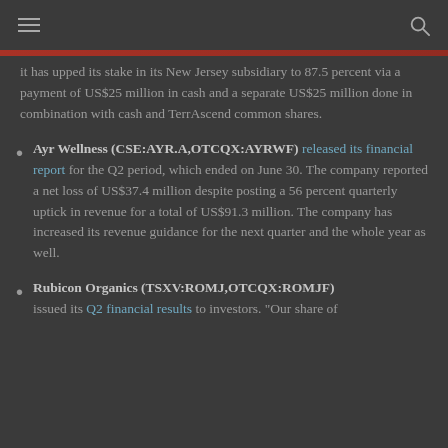[hamburger menu icon] [search icon]
it has upped its stake in its New Jersey subsidiary to 87.5 percent via a payment of US$25 million in cash and a separate US$25 million done in combination with cash and TerrAscend common shares.
Ayr Wellness (CSE:AYR.A,OTCQX:AYRWF) released its financial report for the Q2 period, which ended on June 30. The company reported a net loss of US$37.4 million despite posting a 56 percent quarterly uptick in revenue for a total of US$91.3 million. The company has increased its revenue guidance for the next quarter and the whole year as well.
Rubicon Organics (TSXV:ROMJ,OTCQX:ROMJF) issued its Q2 financial results to investors. "Our share of